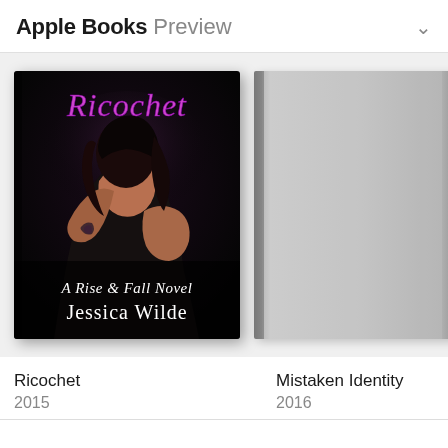Apple Books Preview
[Figure (photo): Book cover of 'Ricochet' by Jessica Wilde — A Rise & Fall Novel. Dark background with two figures embracing, cursive purple title text at top, white subtitle and author name at bottom.]
[Figure (photo): Gray placeholder book cover for 'Mistaken Identity', 2016.]
[Figure (photo): Partial view of a third book cover, partially cropped at right edge.]
Ricochet
2015
Mistaken Identity
2016
Alw
202